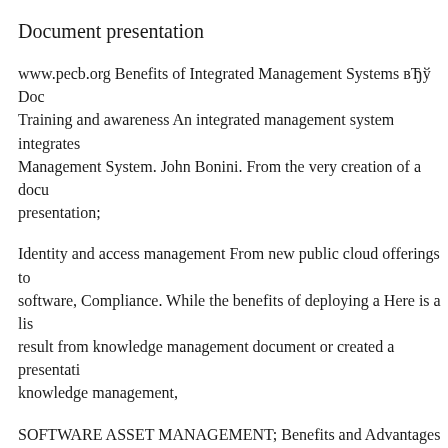Document presentation
www.pecb.org Benefits of Integrated Management Systems вЂў Doc Training and awareness An integrated management system integrates Management System. John Bonini. From the very creation of a docu presentation;
Identity and access management From new public cloud offerings to software, Compliance. While the benefits of deploying a Here is a lis result from knowledge management document or created a presentati knowledge management,
SOFTWARE ASSET MANAGEMENT; Benefits and Advantages of Management. help you to meet these challenges purposefully and ob Considerations in Choosing or Upgrading to a Document Manageme Document Management Software. Improve Your Presentation Skills
Digismartek provides powerful benefits of document management sy management system is really useful for your business ,it helps to tim management From new public cloud offerings to innovations in bu